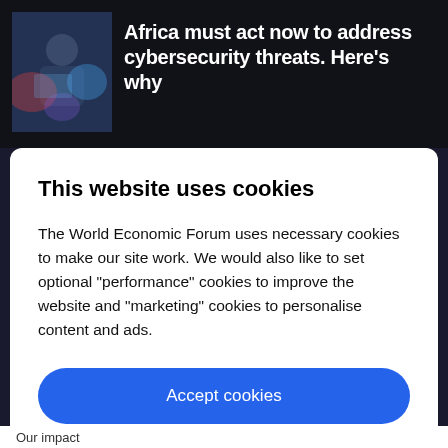[Figure (photo): Thumbnail image of a person working at a computer, with colorful light effects in the background]
Africa must act now to address cybersecurity threats. Here's why
This website uses cookies
The World Economic Forum uses necessary cookies to make our site work. We would also like to set optional “performance” cookies to improve the website and “marketing” cookies to personalise content and ads.
Accept cookies
Reject cookies
Cookie settings
Our impact